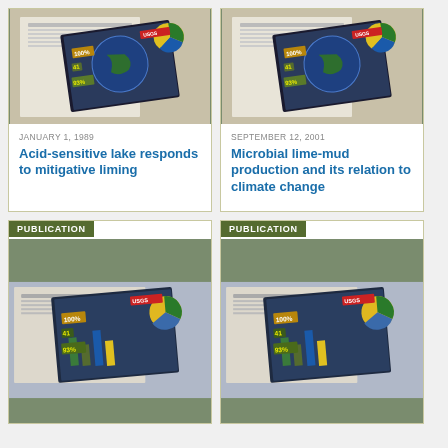[Figure (photo): USGS Science publication materials including a pamphlet with charts, globe imagery, and data displays]
JANUARY 1, 1989
Acid-sensitive lake responds to mitigative liming
[Figure (photo): USGS Science publication materials including a pamphlet with charts, globe imagery, and data displays]
SEPTEMBER 12, 2001
Microbial lime-mud production and its relation to climate change
PUBLICATION
[Figure (photo): USGS Science publication materials including charts and USGS branding]
PUBLICATION
[Figure (photo): USGS Science publication materials including charts and USGS branding]